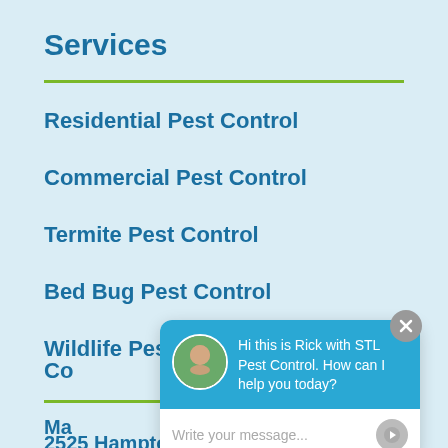Services
Residential Pest Control
Commercial Pest Control
Termite Pest Control
Bed Bug Pest Control
Wildlife Pest Control
Co
Ma
2525 Hampton Ave
[Figure (screenshot): Chat widget popup with avatar photo of Rick, message 'Hi this is Rick with STL Pest Control. How can I help you today?', and input field 'Write your message...' with send button. Close button (X) in top right.]